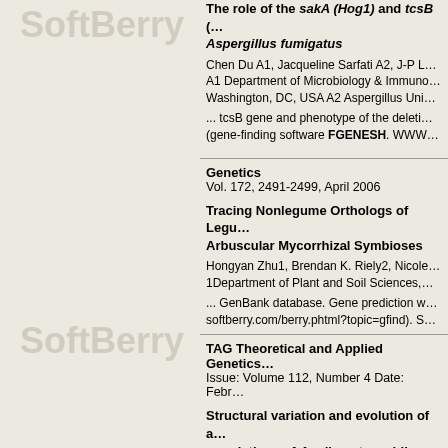The role of the sakA (Hog1) and tcsB ... Aspergillus fumigatus
Chen Du A1, Jacqueline Sarfati A2, J-P L... A1 Department of Microbiology & Immuno... Washington, DC, USA A2 Aspergillus Uni...
... tcsB gene and phenotype of the deleti... (gene-finding software FGENESH. WWW...
Genetics
Vol. 172, 2491-2499, April 2006
Tracing Nonlegume Orthologs of Legu... Arbuscular Mycorrhizal Symbioses
Hongyan Zhu1, Brendan K. Riely2, Nicole... 1Department of Plant and Soil Sciences,...
... GenBank database. Gene prediction w... softberry.com/berry.phtml?topic=gfind). S...
TAG Theoretical and Applied Genetics
Issue: Volume 112, Number 4 Date: Febr...
Structural variation and evolution of a... populations of Aegilops tauschii
Steven A. Brooks1, 2, Li Huang2, Mario...